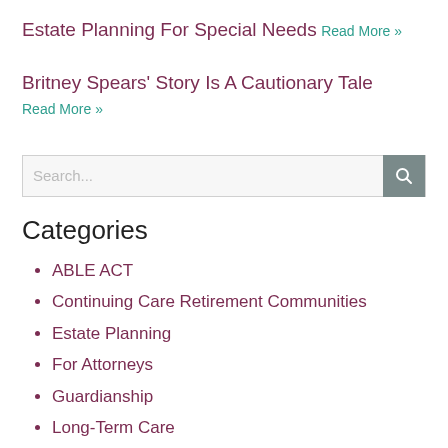Estate Planning For Special Needs
Read More »
Britney Spears' Story Is A Cautionary Tale
Read More »
[Figure (other): Search input box with magnifying glass icon]
Categories
ABLE ACT
Continuing Care Retirement Communities
Estate Planning
For Attorneys
Guardianship
Long-Term Care